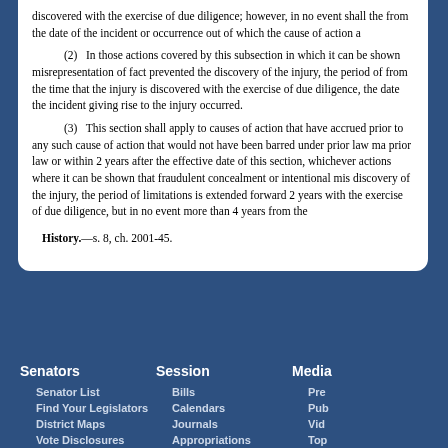discovered with the exercise of due diligence; however, in no event shall the from the date of the incident or occurrence out of which the cause of action a
(2) In those actions covered by this subsection in which it can be shown misrepresentation of fact prevented the discovery of the injury, the period of from the time that the injury is discovered with the exercise of due diligence, the date the incident giving rise to the injury occurred.
(3) This section shall apply to causes of action that have accrued prior to any such cause of action that would not have been barred under prior law ma prior law or within 2 years after the effective date of this section, whichever actions where it can be shown that fraudulent concealment or intentional mis discovery of the injury, the period of limitations is extended forward 2 years with the exercise of due diligence, but in no event more than 4 years from the
History.—s. 8, ch. 2001-45.
Senators | Session | Media | Senator List | Bills | Pre | Find Your Legislators | Calendars | Pub | District Maps | Journals | Vid | Vote Disclosures | Appropriations | Top